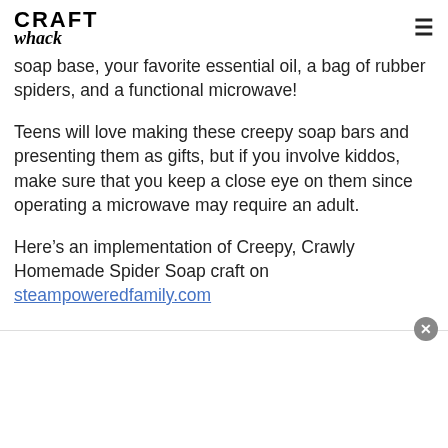CRAFT whack
soap base, your favorite essential oil, a bag of rubber spiders, and a functional microwave!
Teens will love making these creepy soap bars and presenting them as gifts, but if you involve kiddos, make sure that you keep a close eye on them since operating a microwave may require an adult.
Here’s an implementation of Creepy, Crawly Homemade Spider Soap craft on steampoweredfamily.com